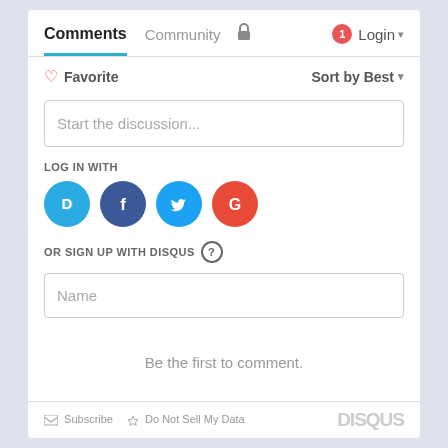Comments | Community | Login
Favorite | Sort by Best
Start the discussion...
LOG IN WITH
[Figure (logo): Social login icons: Disqus (blue D), Facebook (dark blue f), Twitter (light blue bird), Google (red G)]
OR SIGN UP WITH DISQUS ?
Name
Be the first to comment.
Subscribe | Do Not Sell My Data | DISQUS